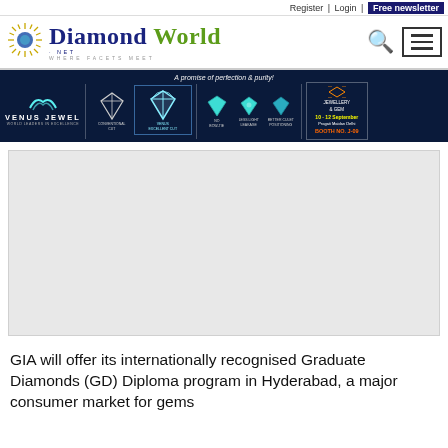Register | Login | Free newsletter
[Figure (logo): Diamond World logo with sunburst emblem, blue and green text, 'WHERE FACETS MEET' tagline]
[Figure (infographic): Venus Jewel banner advertisement showing conventional cut vs Venus Excellent Cut diamonds with promise of perfection and purity, Jewellery & Gem expo booth J-09 info]
[Figure (photo): Large article image placeholder (light grey)]
GIA will offer its internationally recognised Graduate Diamonds (GD) Diploma program in Hyderabad, a major consumer market for gems